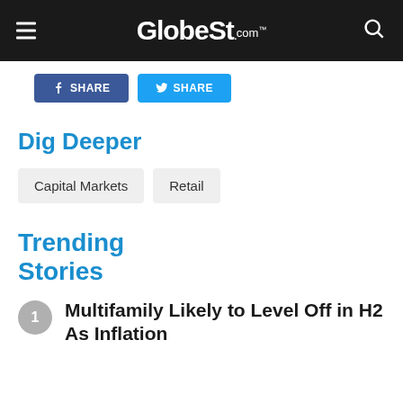GlobeSt.com
[Figure (screenshot): Social share buttons: Facebook SHARE and Twitter SHARE]
Dig Deeper
Capital Markets
Retail
Trending Stories
1. Multifamily Likely to Level Off in H2 As Inflation